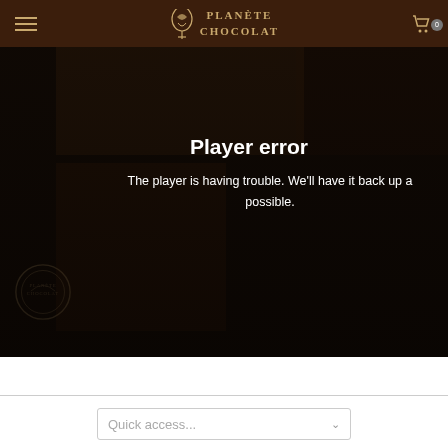PLANÈTE CHOCOLAT — navigation header with hamburger menu and cart icon
[Figure (screenshot): Dark video player area showing hands working with chocolate. Player error overlay displayed with title 'Player error' and message 'The player is having trouble. We’ll have it back up as soon as possible.' Planète Chocolat watermark visible at bottom left.]
Player error
The player is having trouble. We'll have it back up as soon as possible.
Quick access...